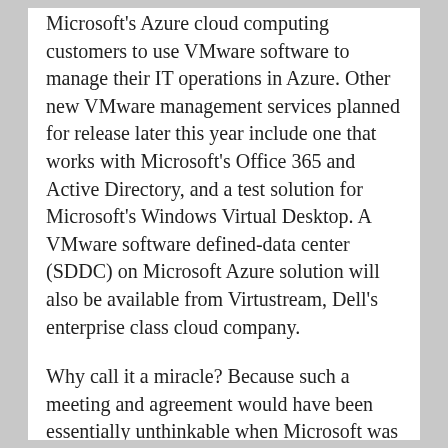Microsoft's Azure cloud computing customers to use VMware software to manage their IT operations in Azure. Other new VMware management services planned for release later this year include one that works with Microsoft's Office 365 and Active Directory, and a test solution for Microsoft's Windows Virtual Desktop. A VMware software defined-data center (SDDC) on Microsoft Azure solution will also be available from Virtustream, Dell's enterprise class cloud company.
Why call it a miracle? Because such a meeting and agreement would have been essentially unthinkable when Microsoft was led by former CEO Steve Ballmer. Ballmer reportedly offered to buy VMware then, when that effort failed, threw the company's full weight behind creating a competing hypervisor, Hyper-V. Despite pricing Hyper-V at a fraction of VMware's